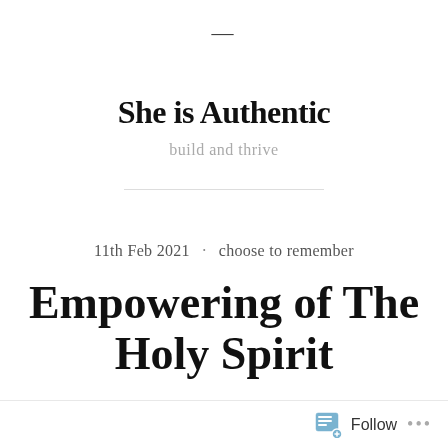≡
She is Authentic
build and thrive
11th Feb 2021 · choose to remember
Empowering of The Holy Spirit
Follow ...